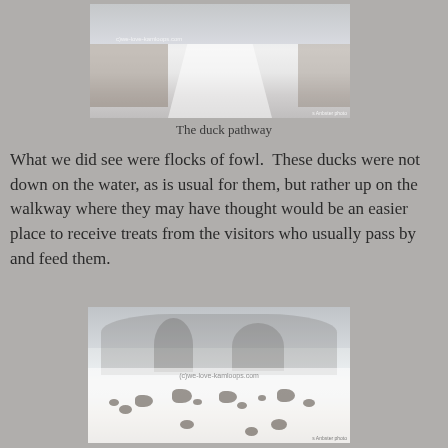[Figure (photo): Snow-covered walkway or pathway with ducks scattered along it, wooden fences on sides, snowy winter scene with trees in background. Watermark reading 'c)we-love-kamloops.com' visible. Photo credit in bottom right corner.]
The duck pathway
What we did see were flocks of fowl.  These ducks were not down on the water, as is usual for them, but rather up on the walkway where they may have thought would be an easier place to receive treats from the visitors who usually pass by and feed them.
[Figure (photo): Flock of ducks on a snow-covered frozen surface with bare trees and snowy bushes in the background. Several ducks have wings spread. Watermark '(c)we-love-kamloops.com' visible in center. Photo credit in bottom right corner.]